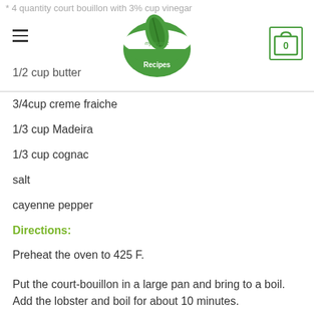* 4 quantity court bouillon with 3% cup vinegar
1/2 cup butter
3/4cup creme fraiche
1/3 cup Madeira
1/3 cup cognac
salt
cayenne pepper
Directions:
Preheat the oven to 425 F.
Put the court-bouillon in a large pan and bring to a boil. Add the lobster and boil for about 10 minutes.